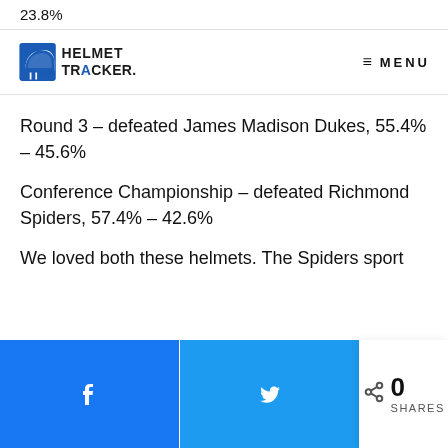23.8%
[Figure (logo): Helmet Tracker logo with football helmet icon and bold text 'HELMET TRACKER.']
MENU
Round 3 – defeated James Madison Dukes, 55.4% – 45.6%
Conference Championship – defeated Richmond Spiders, 57.4% – 42.6%
We loved both these helmets. The Spiders sport
[Figure (infographic): Social share bar with Facebook button, Twitter button, and share count showing 0 SHARES]